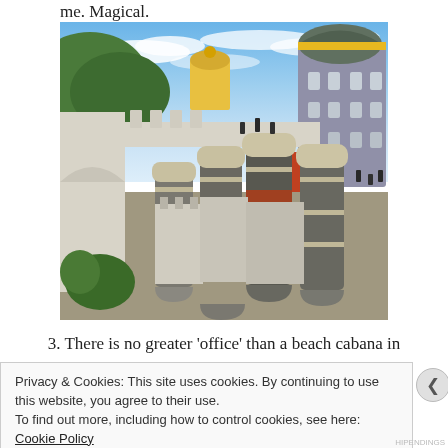me. Magical.
[Figure (photo): Photograph of Pena Palace in Sintra, Portugal. Shows distinctive merlons/battlements in the foreground with alternating cream and grey bands, and the colorful palace towers — yellow and purple/grey — visible in the background against a blue sky with wispy clouds.]
3. There is no greater 'office' than a beach cabana in
Privacy & Cookies: This site uses cookies. By continuing to use this website, you agree to their use.
To find out more, including how to control cookies, see here: Cookie Policy
Close and accept